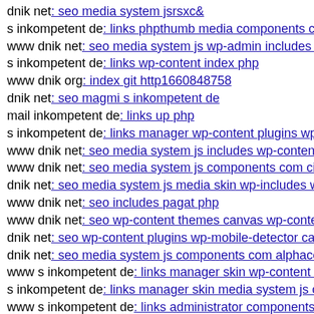dnik net: seo media system jsrsxc&
s inkompetent de: links phpthumb media components com
www dnik net: seo media system js wp-admin includes plu
s inkompetent de: links wp-content index php
www dnik org: index git http1660848758
dnik net: seo magmi s inkompetent de
mail inkompetent de: links up php
s inkompetent de: links manager wp-content plugins wp-fi
www dnik net: seo media system js includes wp-content pl
www dnik net: seo media system js components com civic
dnik net: seo media system js media skin wp-includes wp-
www dnik net: seo includes pagat php
www dnik net: seo wp-content themes canvas wp-content
dnik net: seo wp-content plugins wp-mobile-detector cache
dnik net: seo media system js components com alphaconte
www s inkompetent de: links manager skin wp-content plu
s inkompetent de: links manager skin media system js cfg-
www s inkompetent de: links administrator components co
www s inkompetent de: links manager skin wp-content plu
s inkompetent de: links app etc skin administrator wp-cont